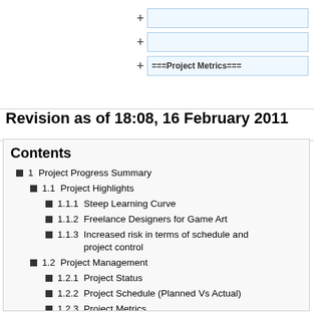[Figure (screenshot): Three collapsed wiki section boxes with '+' expand buttons and blue borders. The third box shows '===Project Metrics===' text.]
Revision as of 18:08, 16 February 2011
Contents
1  Project Progress Summary
1.1  Project Highlights
1.1.1  Steep Learning Curve
1.1.2  Freelance Designers for Game Art
1.1.3  Increased risk in terms of schedule and project control
1.2  Project Management
1.2.1  Project Status
1.2.2  Project Schedule (Planned Vs Actual)
1.2.3  Project Metrics